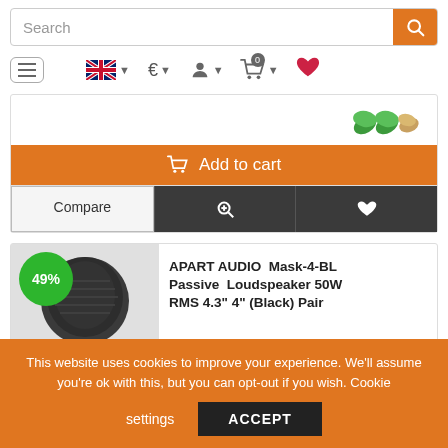[Figure (screenshot): E-commerce website screenshot showing search bar, navigation icons (hamburger menu, UK flag/language selector, euro currency, user account, cart with 0 items, wishlist heart), product action buttons (Add to cart, Compare, zoom, wishlist), a second product card with 49% discount badge showing APART AUDIO Mask-4-BL Passive Loudspeaker 50W RMS 4.3 inch 4 inch (Black) Pair, and a cookie consent banner at the bottom.]
Add to cart
Compare
APART AUDIO  Mask-4-BL Passive  Loudspeaker 50W RMS 4.3" 4" (Black) Pair
49%
This website uses cookies to improve your experience. We'll assume you're ok with this, but you can opt-out if you wish. Cookie settings ACCEPT